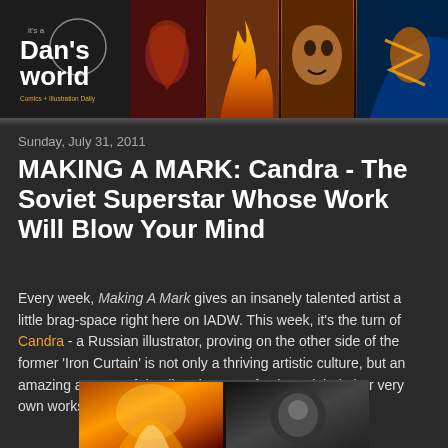[Figure (illustration): Website header banner for 'it's a Dan's world' blog showing logo on left and comic book character collage on right with fiery/dramatic artwork]
Sunday, July 31, 2011
MAKING A MARK: Candra - The Soviet Superstar Whose Work Will Blow Your Mind
Every week, Making A Mark gives an insanely talented artist a little brag-space right here on IADW. This week, it's the turn of Candra - a Russian illustrator, proving on the other side of the former 'Iron Curtain' is not only a thriving artistic culture, but an amazing amount of detail and sense of colour, right in her very own works..
[Figure (illustration): Two small comic artwork thumbnail images at the bottom of the page, showing fantasy character illustrations]